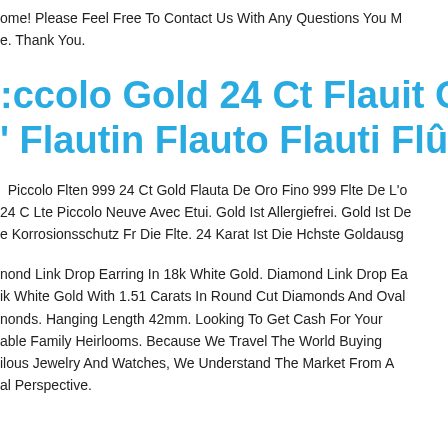ome! Please Feel Free To Contact Us With Any Questions You M
e. Thank You.
ccolo Gold 24 Ct Flauit Oro Ottivan
' Flautin Flauto Flauti Flûte Piccolo G
Piccolo Flten 999 24 Ct Gold Flauta De Oro Fino 999 Flte De L'o
24 C Lte Piccolo Neuve Avec Etui. Gold Ist Allergiefrei. Gold Ist De
e Korrosionsschutz Fr Die Flte. 24 Karat Ist Die Hchste Goldausg
nond Link Drop Earring In 18k White Gold. Diamond Link Drop Ea
ik White Gold With 1.51 Carats In Round Cut Diamonds And Oval
nonds. Hanging Length 42mm. Looking To Get Cash For Your
able Family Heirlooms. Because We Travel The World Buying
ilous Jewelry And Watches, We Understand The Market From A
al Perspective.